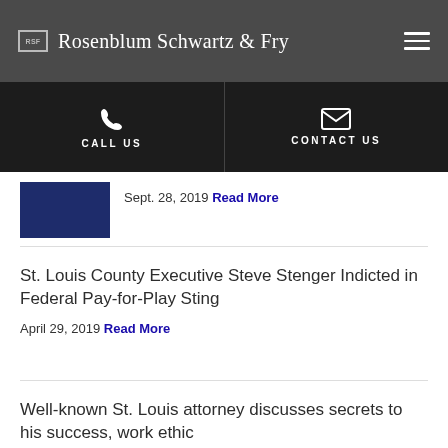Rosenblum Schwartz & Fry
CALL US
CONTACT US
Sept. 28, 2019 Read More
St. Louis County Executive Steve Stenger Indicted in Federal Pay-for-Play Sting
April 29, 2019 Read More
Well-known St. Louis attorney discusses secrets to his success, work ethic